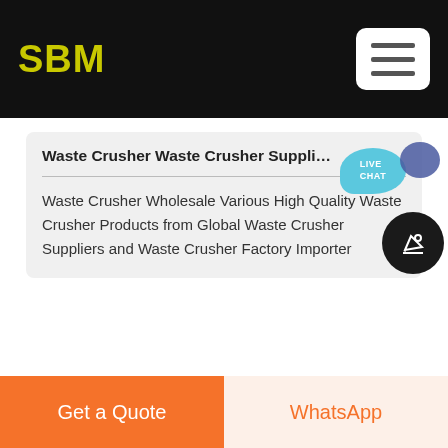SBM
Waste Crusher Waste Crusher Suppliers An...
Waste Crusher Wholesale Various High Quality Waste Crusher Products from Global Waste Crusher Suppliers and Waste Crusher Factory Importer
[Figure (photo): Outdoor photo showing a rocky mountain or quarry silhouette against a light grey sky]
Get a Quote
WhatsApp